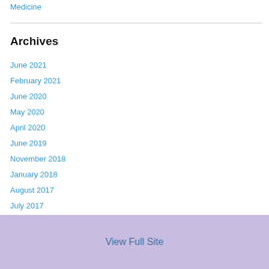Medicine
Archives
June 2021
February 2021
June 2020
May 2020
April 2020
June 2019
November 2018
January 2018
August 2017
July 2017
View Full Site